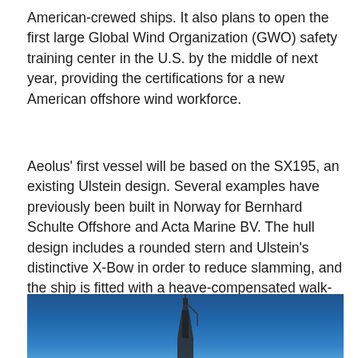American-crewed ships. It also plans to open the first large Global Wind Organization (GWO) safety training center in the U.S. by the middle of next year, providing the certifications for a new American offshore wind workforce.
Aeolus' first vessel will be based on the SX195, an existing Ulstein design. Several examples have previously been built in Norway for Bernhard Schulte Offshore and Acta Marine BV. The hull design includes a rounded stern and Ulstein's distinctive X-Bow in order to reduce slamming, and the ship is fitted with a heave-compensated walk-to-work gangway to transfer technicians to and from wind towers.
[Figure (photo): Aerial or distant photograph of a ship on the ocean with a deep blue sky background. A vessel silhouette is visible near the center-bottom of the image against the blue sky/water.]